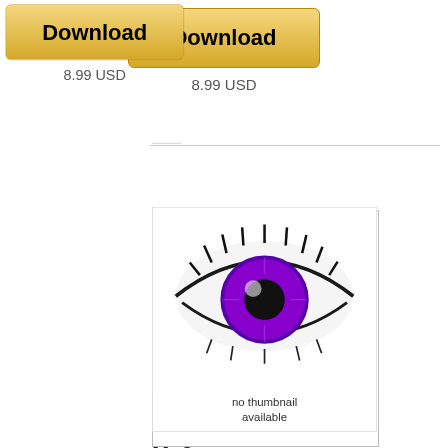[Figure (screenshot): Download button (gold/yellow rounded rectangle) at the top of the page]
8.99 USD
[Figure (photo): Album thumbnail showing a large purple/violet eye with 'no thumbnail available' text overlay]
Mp3 The Chad Fisher Group - Dog Parade
Medeski Martin and Wood with the Dirty Dozen Brass backing up Bob Marley and the Wailers covering instrumental Hank Williams...
47.2 MB
[Figure (screenshot): Download button (gold/yellow rounded rectangle) at the bottom of the page]